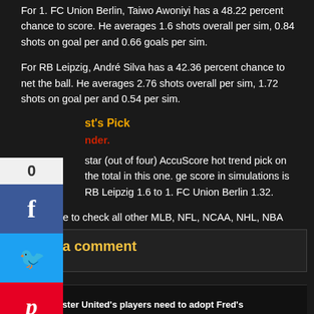For 1. FC Union Berlin, Taiwo Awoniyi has a 48.22 percent chance to score. He averages 1.6 shots overall per sim, 0.84 shots on goal per and 0.66 goals per sim.
For RB Leipzig, André Silva has a 42.36 percent chance to net the ball. He averages 2.76 shots overall per sim, 1.72 shots on goal per and 0.54 per sim.
st's Pick
nder.
star (out of four) AccuScore hot trend pick on the total in this one. ge score in simulations is RB Leipzig 1.6 to 1. FC Union Berlin 1.32.
Make sure to check all other MLB, NFL, NCAA, NHL, NBA and soccer game predictions from AccuScore and Dafabet Sports.
Leave a comment
Previous Post
◄ Manchester United's players need to adopt Fred's